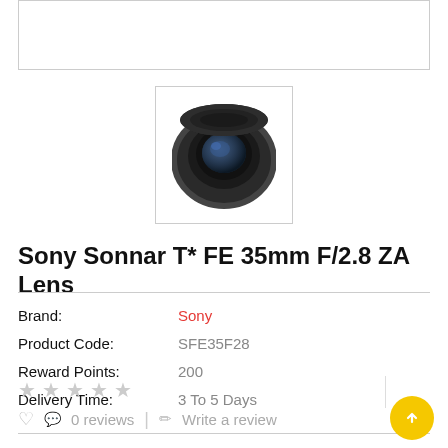[Figure (photo): Small thumbnail image of a Sony Sonnar T* FE 35mm F/2.8 ZA camera lens, viewed from above, showing a round black lens body with blue-tinted front element]
Sony Sonnar T* FE 35mm F/2.8 ZA Lens
Brand: Sony
Product Code: SFE35F28
Reward Points: 200
Delivery Time: 3 To 5 Days
0 reviews | Write a review